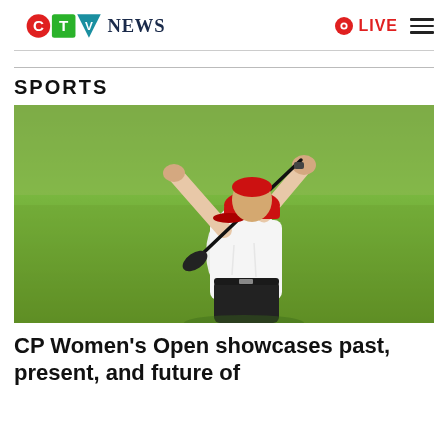CTV News
SPORTS
[Figure (photo): Female golfer in white shirt and red cap swinging a golf club on a green fairway background]
CP Women's Open showcases past, present, and future of